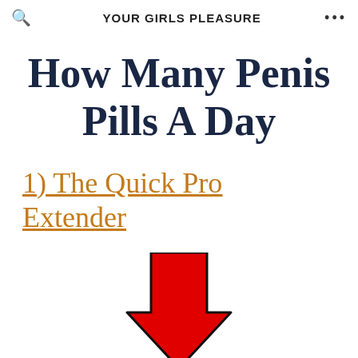YOUR GIRLS PLEASURE
How Many Penis Pills A Day
1) The Quick Pro Extender
[Figure (illustration): Large red downward-pointing arrow]